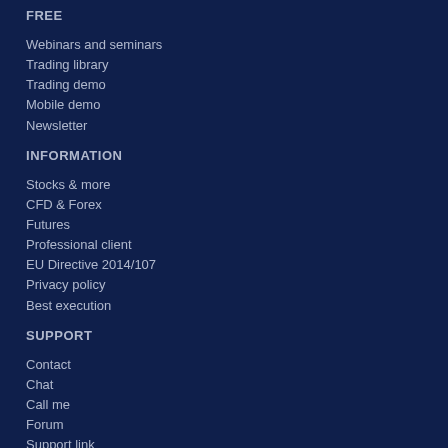FREE
Webinars and seminars
Trading library
Trading demo
Mobile demo
Newsletter
INFORMATION
Stocks & more
CFD & Forex
Futures
Professional client
EU Directive 2014/107
Privacy policy
Best execution
SUPPORT
Contact
Chat
Call me
Forum
Support link